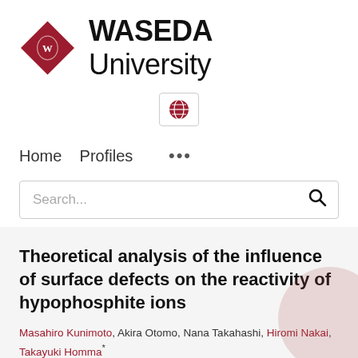[Figure (logo): Waseda University logo: red diamond shape with crest inside, followed by 'WASEDA University' text in bold/regular black font]
[Figure (other): Globe icon in a bordered button/box, used as a language selector]
Home   Profiles   ...
Search...
Theoretical analysis of the influence of surface defects on the reactivity of hypophosphite ions
Masahiro Kunimoto, Akira Otomo, Nana Takahashi, Hiromi Nakai, Takayuki Homma*